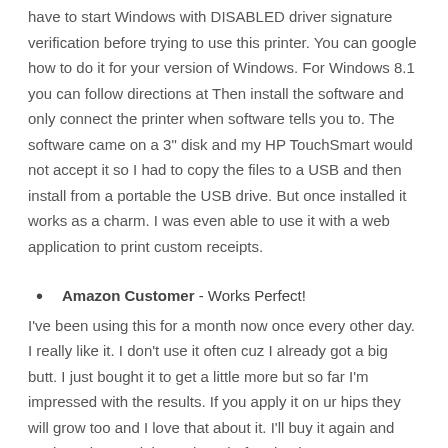have to start Windows with DISABLED driver signature verification before trying to use this printer. You can google how to do it for your version of Windows. For Windows 8.1 you can follow directions at Then install the software and only connect the printer when software tells you to. The software came on a 3" disk and my HP TouchSmart would not accept it so I had to copy the files to a USB and then install from a portable the USB drive. But once installed it works as a charm. I was even able to use it with a web application to print custom receipts.
Amazon Customer - Works Perfect!
I've been using this for a month now once every other day. I really like it. I don't use it often cuz I already got a big butt. I just bought it to get a little more but so far I'm impressed with the results. If you apply it on ur hips they will grow too and I love that about it. I'll buy it again and again. I also read the reviews before buying so I can guarantee you I saw positive results and I encourage if you want something